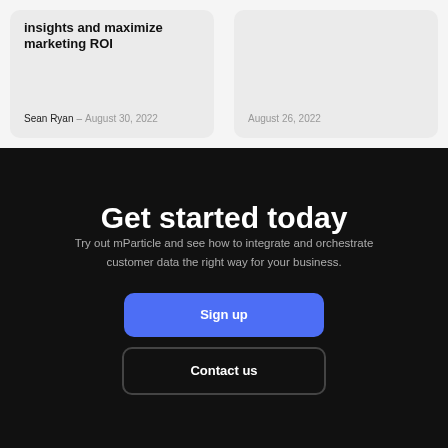insights and maximize marketing ROI
Sean Ryan – August 30, 2022
August 26, 2022
Get started today
Try out mParticle and see how to integrate and orchestrate customer data the right way for your business.
Sign up
Contact us